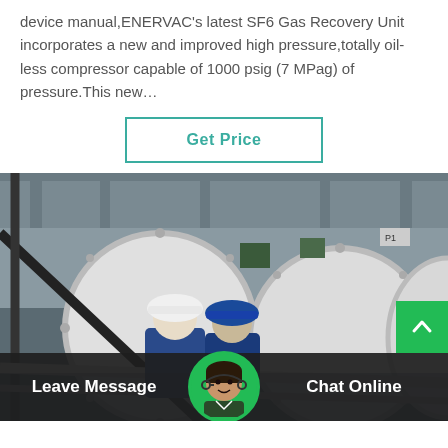device manual,ENERVAC's latest SF6 Gas Recovery Unit incorporates a new and improved high pressure,totally oil-less compressor capable of 1000 psig (7 MPag) of pressure.This new…
Get Price
[Figure (photo): Two workers in hard hats and blue coveralls inspecting large white industrial pressure vessels/cylinders inside a facility, viewed from behind. Metal scaffolding and pipes visible in foreground.]
Leave Message
Chat Online